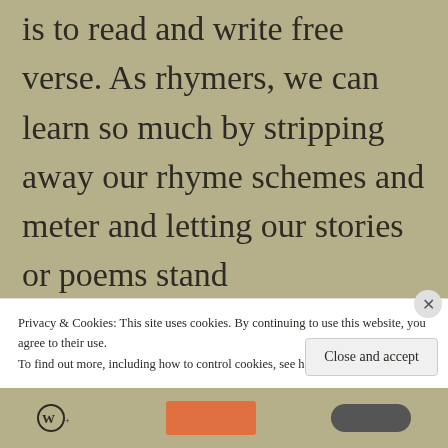is to read and write free verse. As rhymers, we can learn so much by stripping away our rhyme schemes and meter and letting our stories or poems stand
Privacy & Cookies: This site uses cookies. By continuing to use this website, you agree to their use.
To find out more, including how to control cookies, see here: Cookie Policy